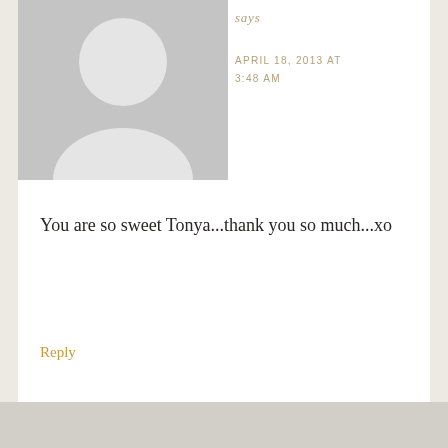says
APRIL 18, 2013 AT 3:48 AM
You are so sweet Tonya...thank you so much...xo
Reply
SHANNON says
APRIL 17, 2013 AT 6:04 PM